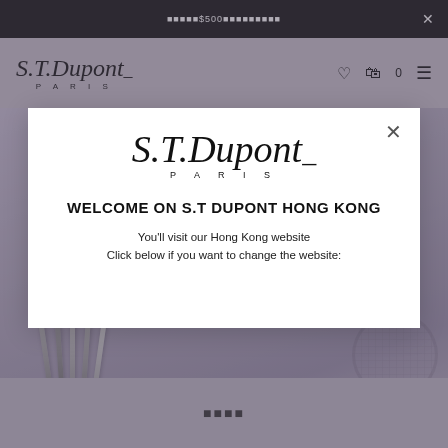■■■■■$500■■■■■■■■■
[Figure (logo): S.T. Dupont Paris logo in the navigation bar]
[Figure (screenshot): Background product photo of S.T. Dupont pens arranged on a purple/mauve gradient background]
[Figure (logo): S.T. Dupont Paris logo in the modal dialog, larger cursive script with PARIS in spaced capitals]
WELCOME ON S.T DUPONT HONG KONG
You'll visit our Hong Kong website
Click below if you want to change the website:
■■■■